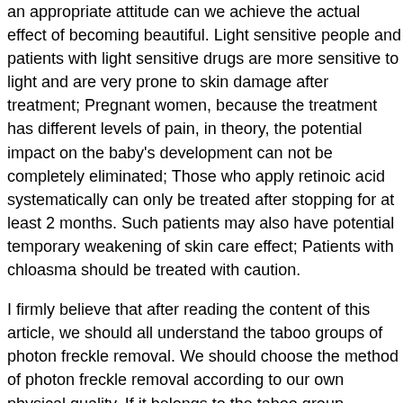an appropriate attitude can we achieve the actual effect of becoming beautiful. Light sensitive people and patients with light sensitive drugs are more sensitive to light and are very prone to skin damage after treatment; Pregnant women, because the treatment has different levels of pain, in theory, the potential impact on the baby's development can not be completely eliminated; Those who apply retinoic acid systematically can only be treated after stopping for at least 2 months. Such patients may also have potential temporary weakening of skin care effect; Patients with chloasma should be treated with caution.
I firmly believe that after reading the content of this article, we should all understand the taboo groups of photon freckle removal. We should choose the method of photon freckle removal according to our own physical quality. If it belongs to the taboo group described in detail above, we can not carry out photon freckle removal, laser treatment and prevention of sun exposure.